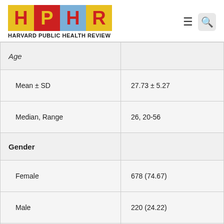[Figure (logo): Harvard Public Health Review (HPHR) logo with colored letter tiles and navigation icons]
| Age |  |
| Mean ± SD | 27.73 ± 5.27 |
| Median, Range | 26, 20-56 |
| Gender |  |
| Female | 678 (74.67) |
| Male | 220 (24.22) |
| Non-binary or | 10 (1.09) |